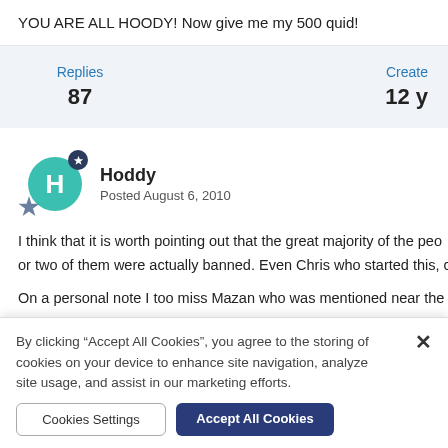YOU ARE ALL HOODY! Now give me my 500 quid!
Replies 87
Created 12 y
Hoddy
Posted August 6, 2010
I think that it is worth pointing out that the great majority of the peo... or two of them were actually banned. Even Chris who started this, c...
On a personal note I too miss Mazan who was mentioned near the b...
By clicking “Accept All Cookies”, you agree to the storing of cookies on your device to enhance site navigation, analyze site usage, and assist in our marketing efforts.
Cookies Settings
Accept All Cookies